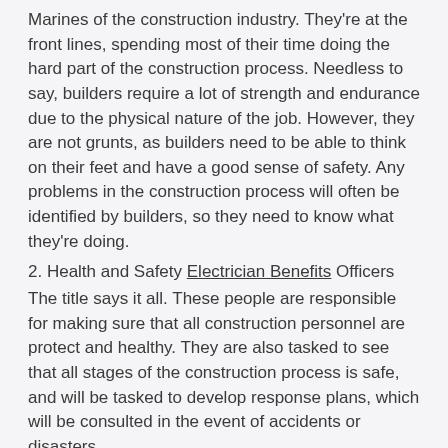Marines of the construction industry. They're at the front lines, spending most of their time doing the hard part of the construction process. Needless to say, builders require a lot of strength and endurance due to the physical nature of the job. However, they are not grunts, as builders need to be able to think on their feet and have a good sense of safety. Any problems in the construction process will often be identified by builders, so they need to know what they're doing.
2. Health and Safety Electrician Benefits Officers
The title says it all. These people are responsible for making sure that all construction personnel are protect and healthy. They are also tasked to see that all stages of the construction process is safe, and will be tasked to develop response plans, which will be consulted in the event of accidents or disasters.
These are just two of the professions you will see at any construction recruitment agency. There are plenty more,